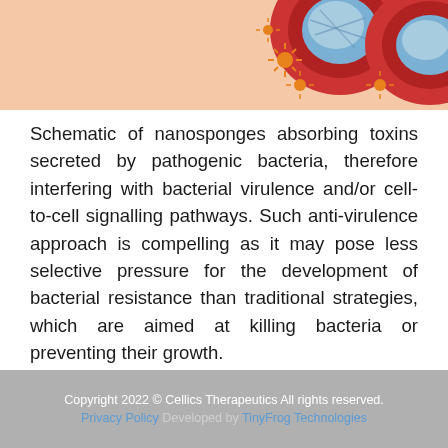[Figure (illustration): Schematic illustration showing nanosponges (red blood cell-like shapes with blue internal structures) and orange toxin particles, set against a peach/salmon background. Partial view cropped at the top of the page.]
Schematic of nanosponges absorbing toxins secreted by pathogenic bacteria, therefore interfering with bacterial virulence and/or cell-to-cell signalling pathways. Such anti-virulence approach is compelling as it may pose less selective pressure for the development of bacterial resistance than traditional strategies, which are aimed at killing bacteria or preventing their growth.
Copyright 2022 © Cellics Therapeutics All rights reserved. Privacy Policy Developed by TinyFrog Technologies